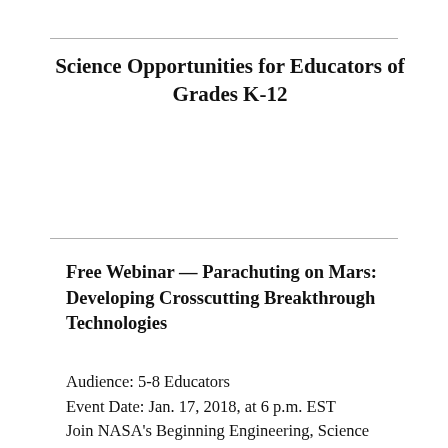Science Opportunities for Educators of Grades K-12
Free Webinar — Parachuting on Mars: Developing Crosscutting Breakthrough Technologies
Audience: 5-8 Educators
Event Date: Jan. 17, 2018, at 6 p.m. EST
Join NASA's Beginning Engineering, Science and Technology, or BEST, educators for a free 60-minute educator professional development webinar. Learn how NASA is developing large, sturdy and lightweight systems to deliver the